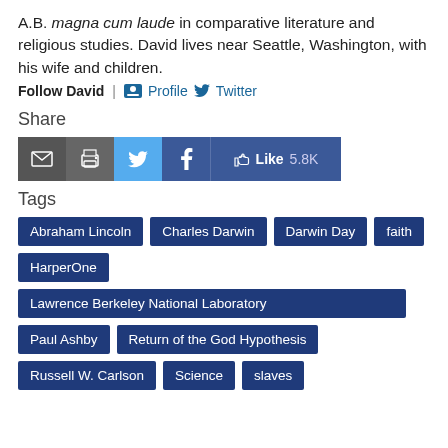A.B. magna cum laude in comparative literature and religious studies. David lives near Seattle, Washington, with his wife and children.
Follow David | Profile Twitter
Share
[Figure (infographic): Share buttons: email, print, Twitter, Facebook, Like 5.8K]
Tags
Abraham Lincoln
Charles Darwin
Darwin Day
faith
HarperOne
Lawrence Berkeley National Laboratory
Paul Ashby
Return of the God Hypothesis
Russell W. Carlson
Science
slaves